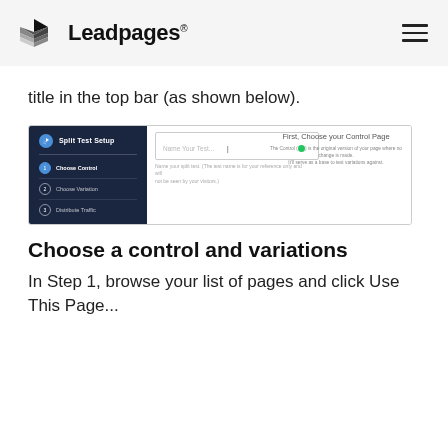Leadpages
title in the top bar (as shown below).
[Figure (screenshot): Screenshot of Leadpages Split Test Setup interface showing a dark sidebar with steps: Choose Control, Choose Variation, Distribute Traffic; and a main panel with a 'Name Your Test...' input field and text 'First, Choose your Control Page' with description about the Control page being the original version.]
Choose a control and variations
In Step 1, browse your list of pages and click Use This Page...